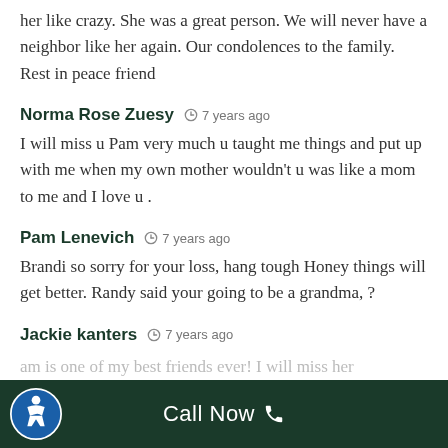her like crazy. She was a great person. We will never have a neighbor like her again. Our condolences to the family. Rest in peace friend
Norma Rose Zuesy  7 years ago
I will miss u Pam very much u taught me things and put up with me when my own mother wouldn't u was like a mom to me and I love u .
Pam Lenevich  7 years ago
Brandi so sorry for your loss, hang tough Honey things will get better. Randy said your going to be a grandma, ?
Jackie kanters  7 years ago
am is one of my best friends ever! I will miss her
Call Now